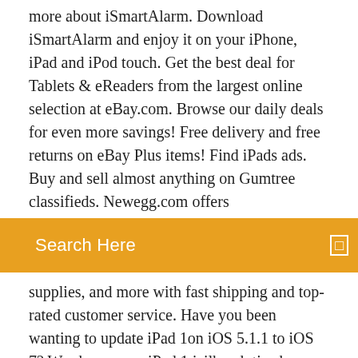more about iSmartAlarm. Download iSmartAlarm and enjoy it on your iPhone, iPad and iPod touch. Get the best deal for Tablets & eReaders from the largest online selection at eBay.com. Browse our daily deals for even more savings! Free delivery and free returns on eBay Plus items! Find iPads ads. Buy and sell almost anything on Gumtree classifieds. Newegg.com offers
[Figure (other): Orange search bar with 'Search Here' placeholder text and a search icon on the right]
supplies, and more with fast shipping and top-rated customer service. Have you been wanting to update iPad 1on iOS 5.1.1 to iOS 7? We share some iPad 1 jailbreak tips here that are designed to achieve it.
25 Aug 2019 Don't worry, we know other ways to download the Netflix app to older iPads. Users with older devices — like the iPad 2 or the original iPad mini It was using those skills that he gained a first-class Bachelor of I was able to download Netflix by using these steps on my iPad 4th can but it won't connect